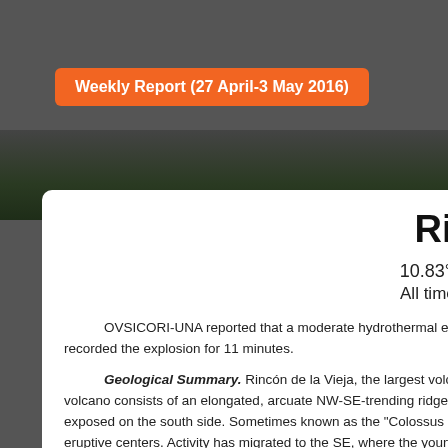Weekly Report (27 April-3 May 2016)
Rincó
10.83°N, 85.32
All times are loc
OVSICORI-UNA reported that a moderate hydrothermal explosion recorded the explosion for 11 minutes.
Geological Summary. Rincón de la Vieja, the largest volcano in volcano consists of an elongated, arcuate NW-SE-trending ridge cons exposed on the south side. Sometimes known as the "Colossus of Gu eruptive centers. Activity has migrated to the SE, where the youngest- of the complex, is located at the eastern end of a smaller, 5-km-wide c Blanca tephra about 3,500 years ago was the last major magmatic eru dating back to the 16th century, have been from the prominent active c